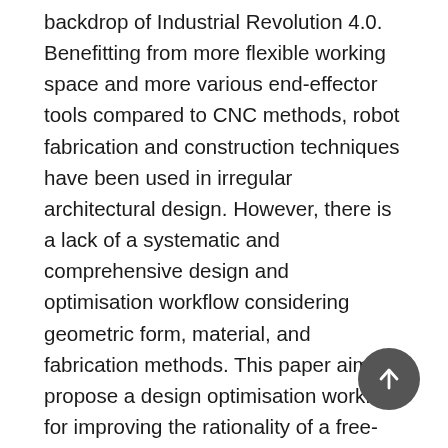backdrop of Industrial Revolution 4.0. Benefitting from more flexible working space and more various end-effector tools compared to CNC methods, robot fabrication and construction techniques have been used in irregular architectural design. However, there is a lack of a systematic and comprehensive design and optimisation workflow considering geometric form, material, and fabrication methods. This paper aims to propose a design optimisation workflow for improving the rationality of a free-form timber structure fabricated by the robotic arm. Firstly, the free-form surface is described by NURBS, while its structure is calculated using the finite element analysis method. Then, by considering the characteristics and limiting factors of robotic timber fabrication, strain energy and robustness are set as optimisation objectives to optimise structural morphology by gradient descent method. As a result, an optimised structure with axial